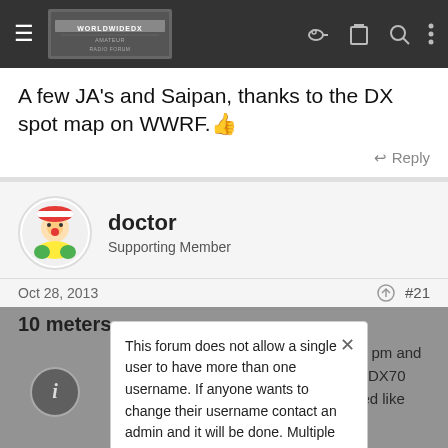WorldwideDX Radio Forum — navigation bar
A few JA's and Saipan, thanks to the DX spot map on WWRF. 👍
↩ Reply
doctor
Supporting Member
Oct 28, 2013   #21
10 meters
This forum does not allow a single user to have more than one username. If anyone wants to change their username contact an admin and it will be done. Multiple accounts belonging to the same member will be deleted without warning.
around 7 pm and ALINCO DX70 d sounded like